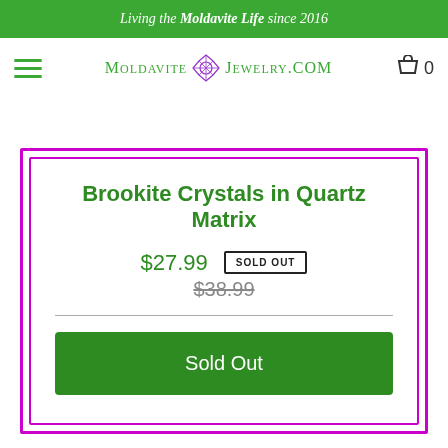Living the Moldavite Life since 2016
[Figure (logo): MoldaviteJewelry.com logo with hamburger menu icon and shopping cart showing 0 items]
Brookite Crystals in Quartz Matrix
$27.99  SOLD OUT  $38.99 (strikethrough)
Sold Out